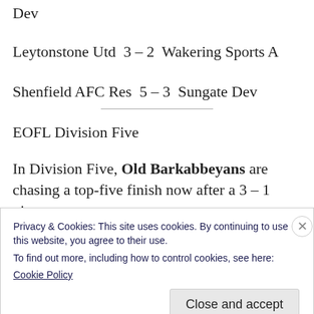Dev
Leytonstone Utd  3 – 2  Wakering Sports A
Shenfield AFC Res  5 – 3  Sungate Dev
EOFL Division Five
In Division Five, Old Barkabbeyans are chasing a top-five finish now after a 3 – 1 victory at
Privacy & Cookies: This site uses cookies. By continuing to use this website, you agree to their use.
To find out more, including how to control cookies, see here:
Cookie Policy
Close and accept